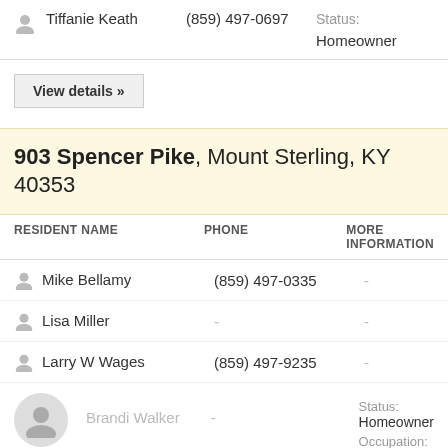Tiffanie Keath  (859) 497-0697  Status: Homeowner
View details »
903 Spencer Pike, Mount Sterling, KY 40353
| RESIDENT NAME | PHONE | MORE INFORMATION |
| --- | --- | --- |
| Mike Bellamy | (859) 497-0335 | - |
| Lisa Miller | - | - |
| Larry W Wages | (859) 497-9235 | - |
| Brandi Walker | - | Status: Homeowner
Occupation: |